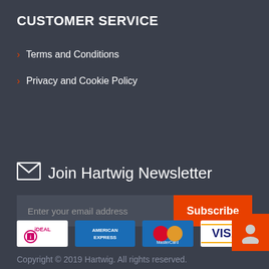CUSTOMER SERVICE
> Terms and Conditions
> Privacy and Cookie Policy
Join Hartwig Newsletter
Enter your email address
Subscribe
[Figure (other): Payment method logos: iDEAL, American Express, MasterCard, VISA]
[Figure (other): User account button icon (orange background with person silhouette)]
Copyright © 2019 Hartwig. All rights reserved.